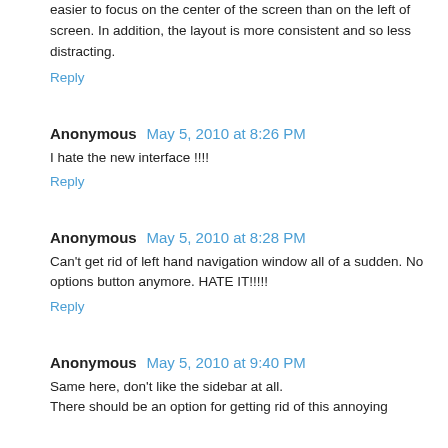easier to focus on the center of the screen than on the left of screen. In addition, the layout is more consistent and so less distracting.
Reply
Anonymous May 5, 2010 at 8:26 PM
I hate the new interface !!!!
Reply
Anonymous May 5, 2010 at 8:28 PM
Can't get rid of left hand navigation window all of a sudden. No options button anymore. HATE IT!!!!!
Reply
Anonymous May 5, 2010 at 9:40 PM
Same here, don't like the sidebar at all. There should be an option for getting rid of this annoying